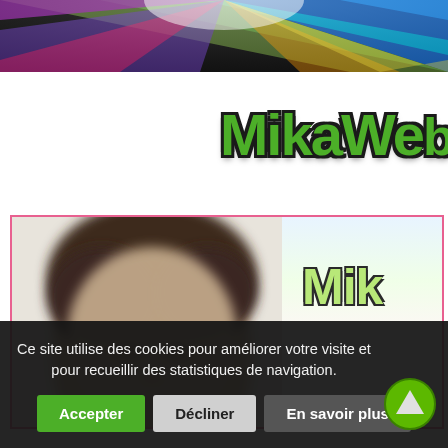[Figure (screenshot): Rainbow starburst banner at the top of a website header, with multicolored rays (purple, blue, green, yellow, orange) radiating outward on a dark background]
MikaWeb
[Figure (photo): A blurred face/head of a young person with brown hair, shown in a pink-bordered content box. To the right of the photo is a stylized green 'Mik' logo text.]
Ce site utilise des cookies pour améliorer votre visite et pour recueillir des statistiques de navigation.
Accepter
Décliner
En savoir plus